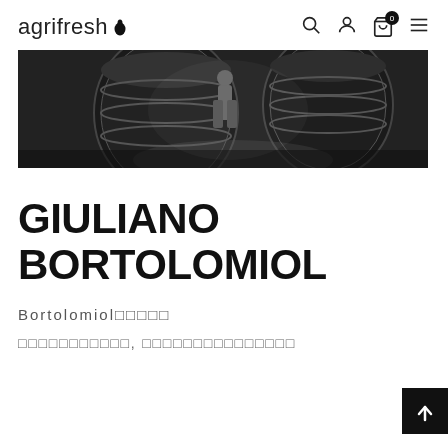agrifresh
[Figure (photo): Black and white photo of a wine cellar with large wooden barrels and a worker]
GIULIANO BORTOLOMIOL
Bortolomiol□□□□□
□□□□□□□□□□□, □□□□□□□□□□□□□□□